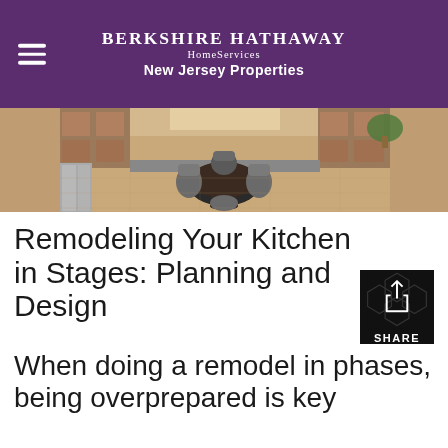BERKSHIRE HATHAWAY HomeServices New Jersey Properties
[Figure (photo): Interior kitchen photo showing wood cabinets, round black dining table with gray chairs, and hardwood flooring]
Remodeling Your Kitchen in Stages: Planning and Design
When doing a remodel in phases, being overprepared is key